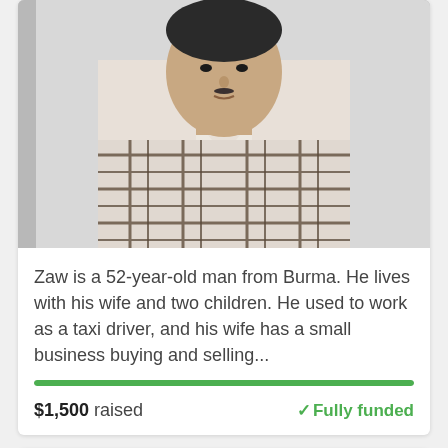[Figure (photo): Photo of Zaw, a 52-year-old man from Burma, wearing a plaid shirt, standing against a light-colored wall.]
Zaw is a 52-year-old man from Burma. He lives with his wife and two children. He used to work as a taxi driver, and his wife has a small business buying and selling...
$1,500 raised
✓Fully funded
[Figure (photo): Partial photo of another person against a brick wall background, cropped at bottom of page.]